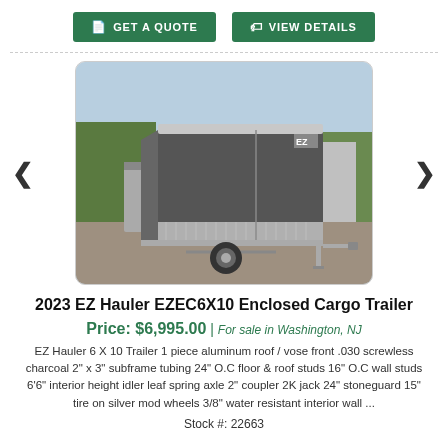[Figure (other): Two green call-to-action buttons: GET A QUOTE and VIEW DETAILS]
[Figure (photo): Photo of a 2023 EZ Hauler EZEC6X10 Enclosed Cargo Trailer - dark charcoal color, single axle, parked on gravel with trees in background. Carousel navigation arrows on left and right.]
2023 EZ Hauler EZEC6X10 Enclosed Cargo Trailer
Price: $6,995.00 | For sale in Washington, NJ
EZ Hauler 6 X 10 Trailer 1 piece aluminum roof / vose front .030 screwless charcoal 2" x 3" subframe tubing 24" O.C floor & roof studs 16" O.C wall studs 6'6" interior height idler leaf spring axle 2" coupler 2K jack 24" stoneguard 15" tire on silver mod wheels 3/8" water resistant interior wall ...
Stock #: 22663